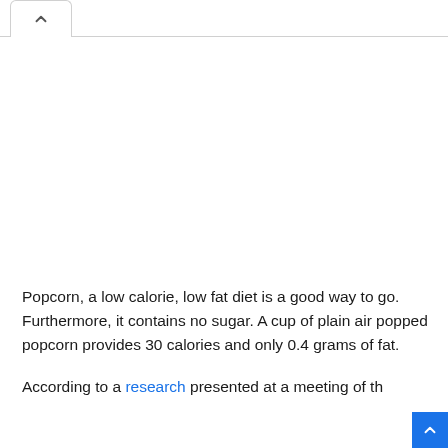Popcorn, a low calorie, low fat diet is a good way to go. Furthermore, it contains no sugar. A cup of plain air popped popcorn provides 30 calories and only 0.4 grams of fat.
According to a research presented at a meeting of th…